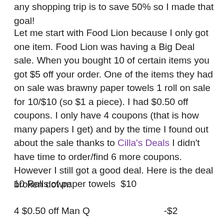any shopping trip is to save 50% so I made that goal!
Let me start with Food Lion because I only got one item. Food Lion was having a Big Deal sale. When you bought 10 of certain items you got $5 off your order. One of the items they had on sale was brawny paper towels 1 roll on sale for 10/$10 (so $1 a piece). I had $0.50 off coupons. I only have 4 coupons (that is how many papers I get) and by the time I found out about the sale thanks to Cilla's Deals I didn't have time to order/find 6 more coupons. However I still got a good deal. Here is the deal broken down:
10 Rolls of paper towels  $10
4 $0.50 off Man Q          -$2